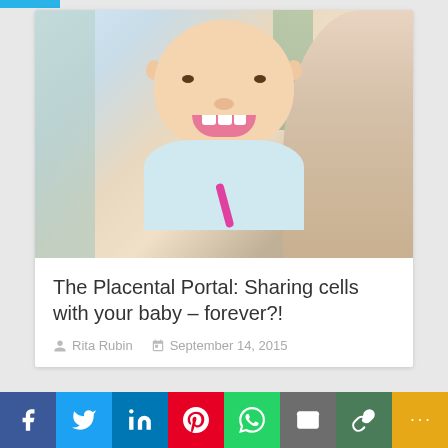[Figure (photo): Photo of a smiling baby/toddler brushing teeth with a pink toothbrush, with a blurred adult (mother) visible in the background on the right side.]
The Placental Portal: Sharing cells with your baby – forever?!
Rita Rubin   September 14, 2015